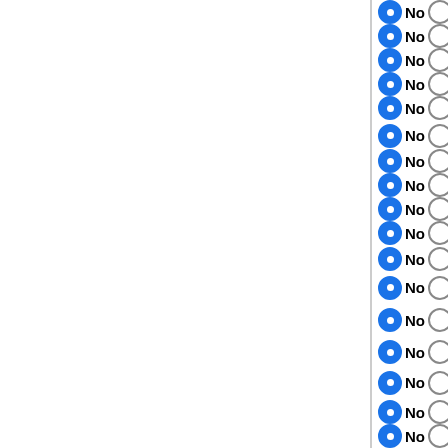No Yes Picea sitchensis (Incomplete…
No Yes Lotus japonicus (Early assem…
No Yes Malus x domestica (Duplicate…
No Yes Ricinus communis (Early ass…
No Yes Nicotiana benthamiana 0.4.4
No Yes Solanum pimpinellifolium A-1
No Yes Solanum lycopersicum v2.3
No Yes Phoenix dactylifera (Early dra…
No Yes Homo sapiens 69_37
No Yes Pan troglodytes 69_2.1.4
No Yes Gorilla gorilla 69_3.1
No Yes Pongo abelii 69_2
No Yes Nomascus leucogenys 69_1
No Yes Macaca mulatta 69_1
No Yes Callithrix jacchus 69_3.2.1
No Yes Otolemur garnettii 69_3
No Yes Microcebus murinus 69_1